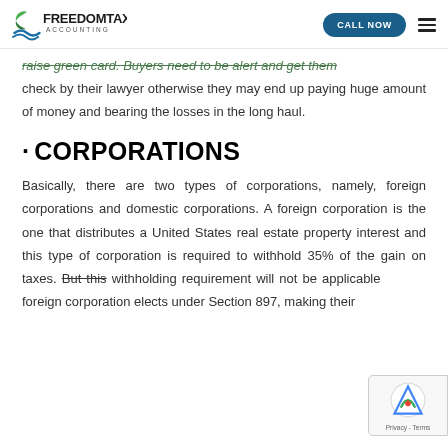FREEDOMTAX ACCOUNTING | CALL NOW
raise green card. Buyers need to be alert and get them check by their lawyer otherwise they may end up paying huge amount of money and bearing the losses in the long haul.
· CORPORATIONS
Basically, there are two types of corporations, namely, foreign corporations and domestic corporations. A foreign corporation is the one that distributes a United States real estate property interest and this type of corporation is required to withhold 35% of the gain on taxes. But this withholding requirement will not be applicable if the foreign corporation elects under Section 897, making their